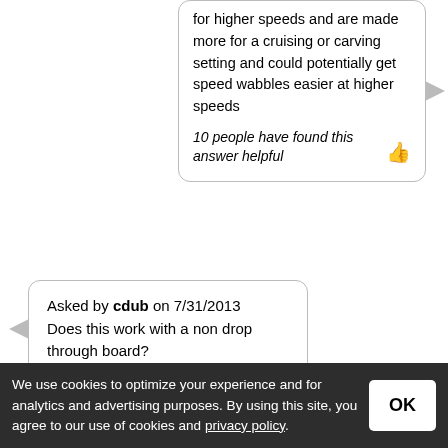for higher speeds and are made more for a cruising or carving setting and could potentially get speed wabbles easier at higher speeds
10 people have found this answer helpful
Asked by cdub on 7/31/2013
Does this work with a non drop through board?
Answered on 8/14/2013
yes you can use these on a non drop through board
12 people have found this answer helpful
We use cookies to optimize your experience and for analytics and advertising purposes. By using this site, you agree to our use of cookies and privacy policy.